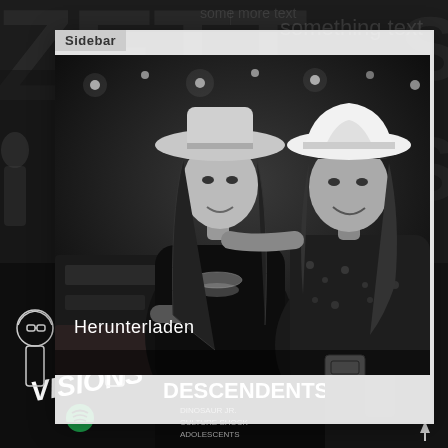Sidebar
[Figure (photo): Black and white photo of two people: a woman wearing a wide-brim hat and layered necklaces, and a man wearing a cowboy hat and floral shirt, both smiling, sitting at what appears to be a bar or venue with string lights in the background]
Herunterladen
[Figure (illustration): VISIONS magazine logo with cartoon figures of two people (drawn in black and white illustration style) and Spotify logo]
[Figure (photo): Concert poster for Descendents with supporting acts including Dinosaur Jr, Culture Shock, Adolescents, Dags Wife Dolls, Bleskit]
[Figure (photo): At The Drive-In text logo/poster in large white letters on dark background with a scroll-up arrow icon]